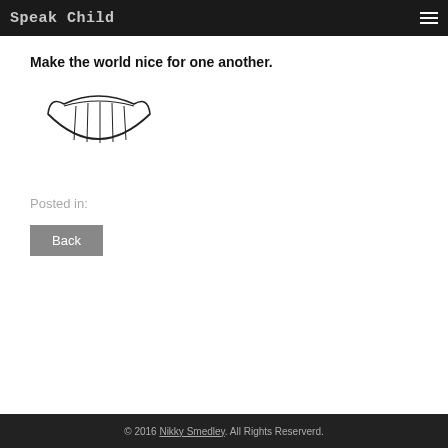Speak Child
Make the world nice for one another.
[Figure (illustration): A hand-drawn smile/grin illustration showing teeth, resembling a Cheshire cat smile or stylized mouth with visible teeth segments.]
Posted in:
Back
© 2016 Nikky Smedley. All Rights Reserverd.